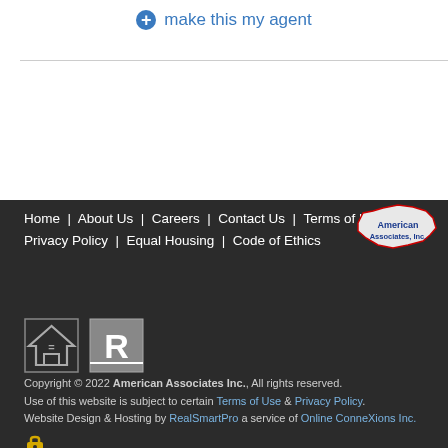make this my agent
Home | About Us | Careers | Contact Us | Terms of Use | Privacy Policy | Equal Housing | Code of Ethics
[Figure (logo): American Associates Inc. logo with US map outline in red with blue text]
[Figure (illustration): Equal Housing Opportunity logo (house with equal sign) and Realtor logo (R in rectangle)]
Copyright © 2022 American Associates Inc., All rights reserved. Use of this website is subject to certain Terms of Use & Privacy Policy. Website Design & Hosting by RealSmartPro a service of Online ConneXions Inc.
[Figure (illustration): Gold padlock security icon]